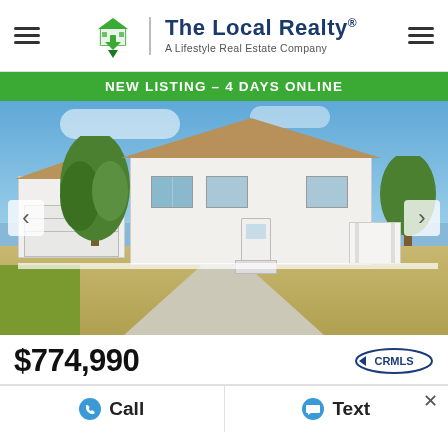The Local Realty® — A Lifestyle Real Estate Company
NEW LISTING – 4 DAYS ONLINE
[Figure (photo): Exterior photo of a white single-story house with gabled roof, covered porch, attached garage, long concrete driveway, trees, and blue sky.]
$774,990
CRMLS logo
Call   Text